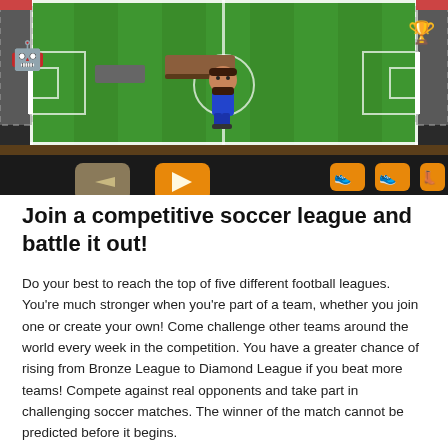[Figure (screenshot): Screenshot of a mobile soccer/football game showing a cartoon-style field with a bearded player character in the center, goal posts on each side, and game UI controls at the bottom including a gray back button, orange play button, and three orange shoe/boot buttons on the right side. A trophy is visible in the upper right corner.]
Join a competitive soccer league and battle it out!
Do your best to reach the top of five different football leagues. You're much stronger when you're part of a team, whether you join one or create your own! Come challenge other teams around the world every week in the competition. You have a greater chance of rising from Bronze League to Diamond League if you beat more teams! Compete against real opponents and take part in challenging soccer matches. The winner of the match cannot be predicted before it begins.